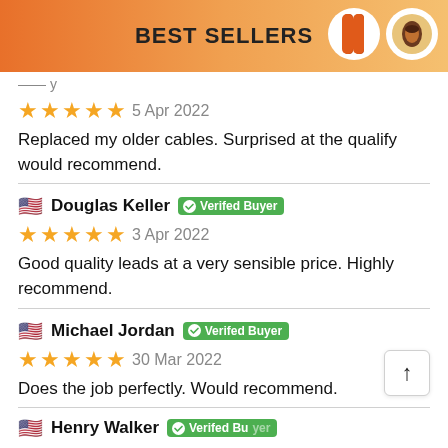BEST SELLERS
(partial reviewer name cut off)
5 Apr 2022
Replaced my older cables. Surprised at the qualify would recommend.
Douglas Keller  Verified Buyer
3 Apr 2022
Good quality leads at a very sensible price. Highly recommend.
Michael Jordan  Verified Buyer
30 Mar 2022
Does the job perfectly. Would recommend.
Henry Walker  Verified Buyer